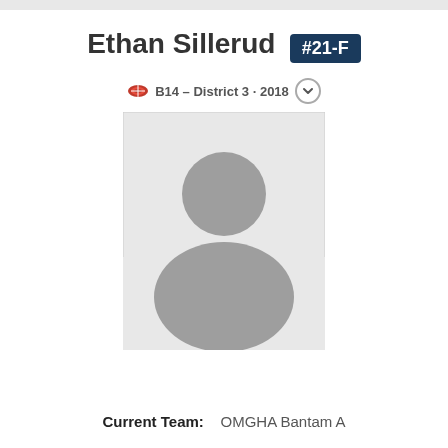Ethan Sillerud #21-F
B14 - District 3 · 2018
[Figure (photo): Default player profile photo placeholder showing a grey silhouette of a person on a light grey background]
Current Team:   OMGHA Bantam A